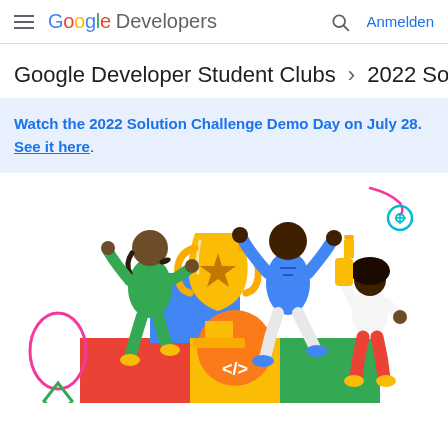≡ Google Developers  🔍  Anmelden
Google Developer Student Clubs > 2022 Solut
Watch the 2022 Solution Challenge Demo Day on July 28. See it here.
[Figure (illustration): Colorful flat illustration of three people celebrating around a large golden trophy with a star, set on colorful geometric blocks including red, blue, yellow, green segments. Decorative elements include a pink oval shape, a green diamond, a code symbol </>, orange circle, and abstract line drawings. Characters are depicted in green outfit, blue outfit, and white top with red pants.]